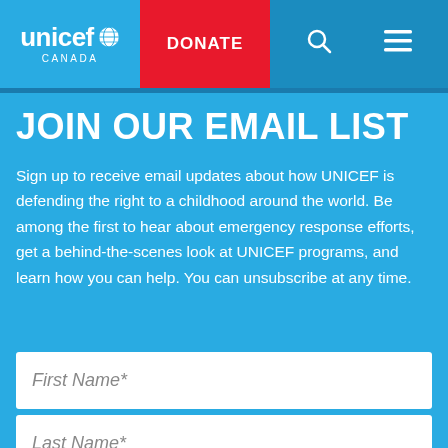[Figure (logo): UNICEF Canada logo with globe icon, white text on blue background]
DONATE | Search | Menu
JOIN OUR EMAIL LIST
Sign up to receive email updates about how UNICEF is defending the right to a childhood around the world. Be among the first to hear about emergency response efforts, get a behind-the-scenes look at UNICEF programs, and learn how you can help. You can unsubscribe at any time.
First Name*
Last Name*